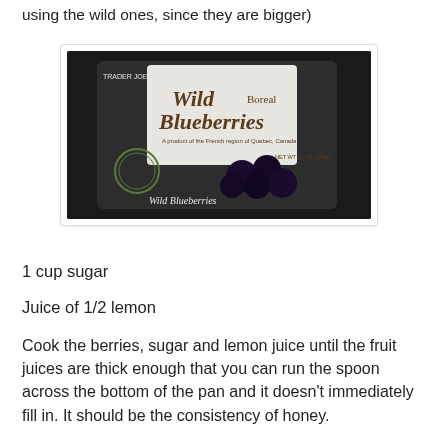using the wild ones, since they are bigger)
[Figure (photo): Bag of Trader Joe's Wild Boreal Blueberries on a dark countertop]
1 cup sugar
Juice of 1/2 lemon
Cook the berries, sugar and lemon juice until the fruit juices are thick enough that you can run the spoon across the bottom of the pan and it doesn't immediately fill in. It should be the consistency of honey.
[Figure (photo): Bottom portion of a second food photo, partially visible]